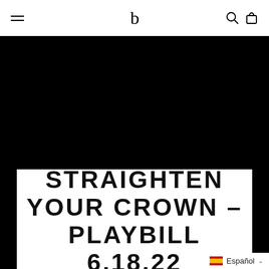Navigation bar with hamburger menu, logo (b), search and bag icons
[Figure (photo): Black background area representing a product or hero image]
STRAIGHTEN YOUR CROWN - PLAYBILL 6.18.22
Español